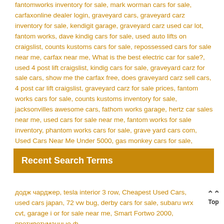fantomworks inventory for sale, mark worman cars for sale, carfaxonline dealer login, graveyard cars, graveyard carz inventory for sale, kendigit garage, graveyard carz used car lot, fantom works, dave kindig cars for sale, used auto lifts on craigslist, counts kustoms cars for sale, repossessed cars for sale near me, carfax near me, What is the best electric car for sale?, used 4 post lift craigslist, kindig cars for sale, graveyard carz for sale cars, show me the carfax free, does graveyard carz sell cars, 4 post car lift craigslist, graveyard carz for sale prices, fantom works cars for sale, counts kustoms inventory for sale, jacksonvilles awesome cars, fathom works garage, hertz car sales near me, used cars for sale near me, fantom works for sale inventory, phantom works cars for sale, grave yard cars com, Used Cars Near Me Under 5000, gas monkey cars for sale, counts kustoms for sale, used car lifts for sale by owner
Recent Search Terms
додж чарджер, tesla interior 3 row, Cheapest Used Cars, used cars japan, 72 vw bug, derby cars for sale, subaru wrx cvt, garage i or for sale near me, Smart Fortwo 2000, противотуманные ф